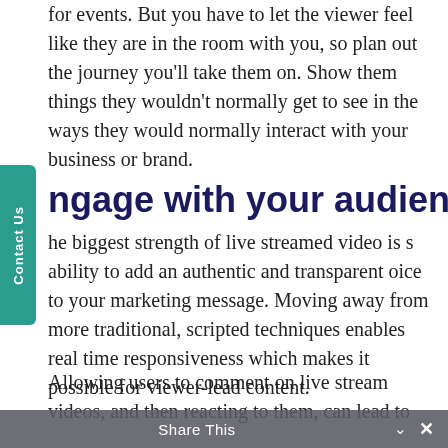for events. But you have to let the viewer feel like they are in the room with you, so plan out the journey you'll take them on. Show them things they wouldn't normally get to see in the ways they would normally interact with your business or brand.
Engage with your audience
The biggest strength of live streamed video is its ability to add an authentic and transparent voice to your marketing message. Moving away from more traditional, scripted techniques enables real time responsiveness which makes it possible for viewer-lead content.
Allowing users to comment on live stream videos, and then reacting to them, can lead to
Share This ×